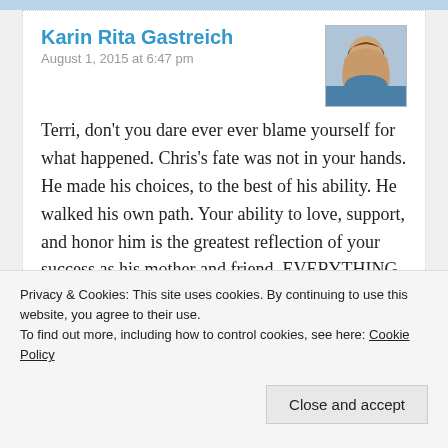Karin Rita Gastreich
August 1, 2015 at 6:47 pm
[Figure (photo): Profile photo of Karin Rita Gastreich, a woman with long brown hair]
Terri, don't you dare ever ever blame yourself for what happened. Chris's fate was not in your hands. He made his choices, to the best of his ability. He walked his own path. Your ability to love, support, and honor him is the greatest reflection of your success as his mother and friend. EVERYTHING else was out of your hands.I know it's not easy to confront how li...
Privacy & Cookies: This site uses cookies. By continuing to use this website, you agree to their use.
To find out more, including how to control cookies, see here: Cookie Policy
Close and accept